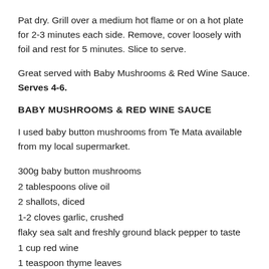Pat dry. Grill over a medium hot flame or on a hot plate for 2-3 minutes each side. Remove, cover loosely with foil and rest for 5 minutes. Slice to serve.
Great served with Baby Mushrooms & Red Wine Sauce. Serves 4-6.
BABY MUSHROOMS & RED WINE SAUCE
I used baby button mushrooms from Te Mata available from my local supermarket.
300g baby button mushrooms
2 tablespoons olive oil
2 shallots, diced
1-2 cloves garlic, crushed
flaky sea salt and freshly ground black pepper to taste
1 cup red wine
1 teaspoon thyme leaves